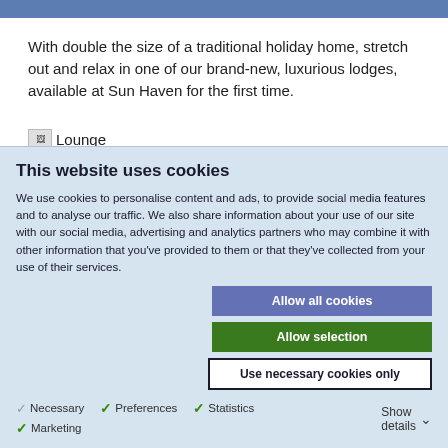With double the size of a traditional holiday home, stretch out and relax in one of our brand-new, luxurious lodges, available at Sun Haven for the first time.
[Figure (photo): Lounge image icon]
This website uses cookies
We use cookies to personalise content and ads, to provide social media features and to analyse our traffic. We also share information about your use of our site with our social media, advertising and analytics partners who may combine it with other information that you've provided to them or that they've collected from your use of their services.
Allow all cookies
Allow selection
Use necessary cookies only
Necessary   Preferences   Statistics   Marketing   Show details